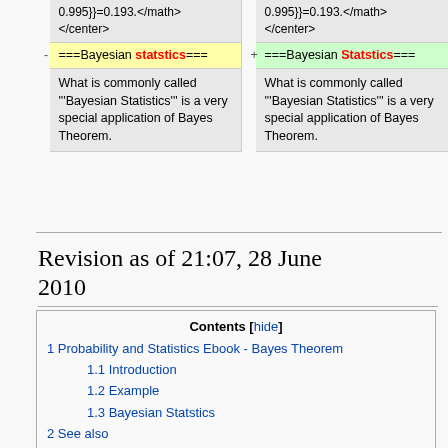| left | right |
| --- | --- |
| 0.995}}=0.193.</math>
</center> | 0.995}}=0.193.</math>
</center> |
| ===Bayesian statstics=== | ===Bayesian Statstics=== |
| What is commonly called '''Bayesian Statistics''' is a very special application of Bayes Theorem. | What is commonly called '''Bayesian Statistics''' is a very special application of Bayes Theorem. |
Revision as of 21:07, 28 June 2010
| Contents [hide] |
| --- |
| 1 Probability and Statistics Ebook - Bayes Theorem |
| 1.1 Introduction |
| 1.2 Example |
| 1.3 Bayesian Statstics |
| 2 See also |
| 3 References |